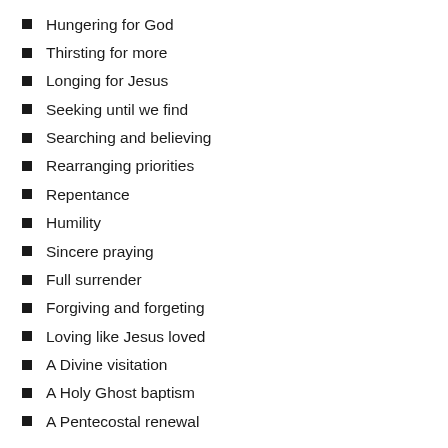Hungering for God
Thirsting for more
Longing for Jesus
Seeking until we find
Searching and believing
Rearranging priorities
Repentance
Humility
Sincere praying
Full surrender
Forgiving and forgeting
Loving like Jesus loved
A Divine visitation
A Holy Ghost baptism
A Pentecostal renewal